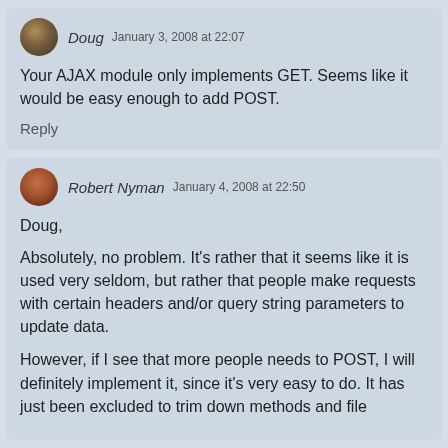Doug  January 3, 2008 at 22:07
Your AJAX module only implements GET. Seems like it would be easy enough to add POST.
Reply
Robert Nyman  January 4, 2008 at 22:50
Doug,
Absolutely, no problem. It's rather that it seems like it is used very seldom, but rather that people make requests with certain headers and/or query string parameters to update data.
However, if I see that more people needs to POST, I will definitely implement it, since it's very easy to do. It has just been excluded to trim down methods and file